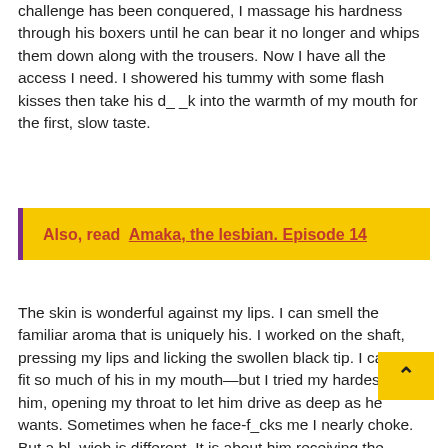challenge has been conquered, I massage his hardness through his boxers until he can bear it no longer and whips them down along with the trousers. Now I have all the access I need. I showered his tummy with some flash kisses then take his d_ _k into the warmth of my mouth for the first, slow taste.
Also, read  Amaka, the lesbian. Episode 14
The skin is wonderful against my lips. I can smell the familiar aroma that is uniquely his. I worked on the shaft, pressing my lips and licking the swollen black tip. I can only fit so much of his in my mouth—but I tried my hardest for him, opening my throat to let him drive as deep as he wants. Sometimes when he face-f_cks me I nearly choke. But a bl_wjob is different. It is about him receiving the pleasure, not merely taking it. Then I cr his balls, squeezing and s_cking them. He really gets on this and stroked my back but I can tell he doesn't want to interrupt my flow.